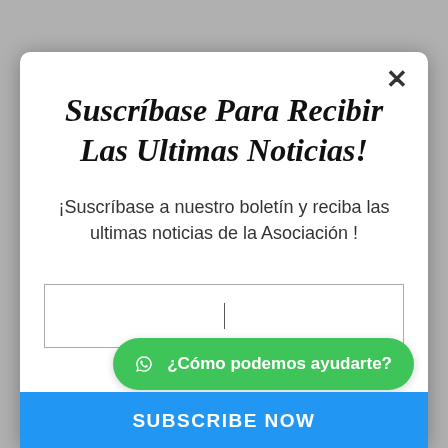Suscríbase Para Recibir Las Ultimas Noticias!
¡Suscríbase a nuestro boletín y reciba las ultimas noticias de la Asociación !
[Figure (screenshot): Email input text field with cursor]
[Figure (screenshot): WhatsApp chat button: ¿Cómo podemos ayudarte?]
SUBSCRIBE NOW